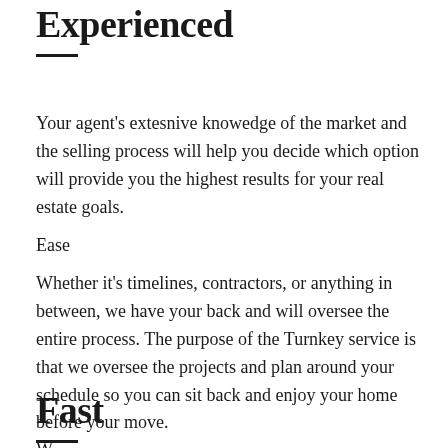Experienced
Your agent's extesnive knowedge of the market and the selling process will help you decide which option will provide you the highest results for your real estate goals.
Ease
Whether it's timelines, contractors, or anything in between, we have your back and will oversee the entire process. The purpose of the Turnkey service is that we oversee the projects and plan around your schedule so you can sit back and enjoy your home before your move.
Fast